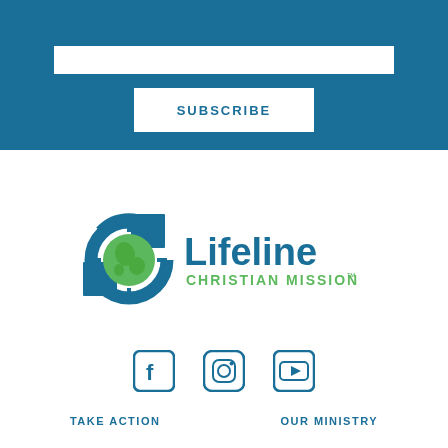[Figure (other): Blue header section with white input field and SUBSCRIBE button]
[Figure (logo): Lifeline Christian Mission logo with globe icon]
[Figure (other): Social media icons: Facebook, Instagram, YouTube]
TAKE ACTION
OUR MINISTRY